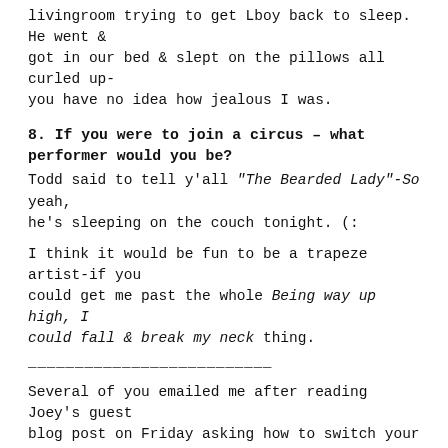livingroom trying to get Lboy back to sleep. He went & got in our bed & slept on the pillows all curled up- you have no idea how jealous I was.
8. If you were to join a circus – what performer would you be?
Todd said to tell y'all "The Bearded Lady"-So yeah, he's sleeping on the couch tonight. (:
I think it would be fun to be a trapeze artist-if you could get me past the whole Being way up high, I could fall & break my neck thing.
——————————————————————————
Several of you emailed me after reading Joey's guest blog post on Friday asking how to switch your comment off of "no- reply(at)blogger(dot)com. Here is a link that gives you a tutorial from Sweet Simplicity Blog!